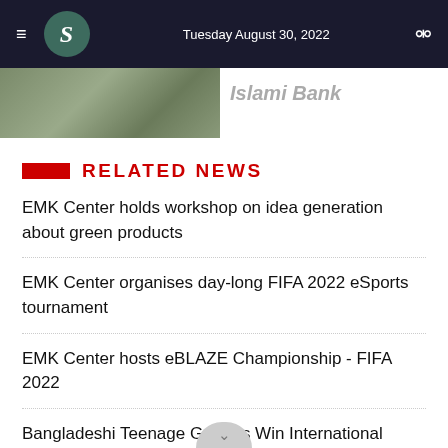Tuesday August 30, 2022
[Figure (photo): Partial image of people at an event, partially visible at top of page]
Islami Bank
RELATED NEWS
EMK Center holds workshop on idea generation about green products
EMK Center organises day-long FIFA 2022 eSports tournament
EMK Center hosts eBLAZE Championship - FIFA 2022
Bangladeshi Teenage Gamers Win International Tournament